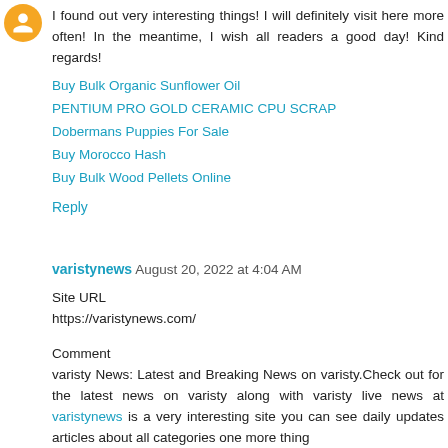I found out very interesting things! I will definitely visit here more often! In the meantime, I wish all readers a good day! Kind regards!
Buy Bulk Organic Sunflower Oil
PENTIUM PRO GOLD CERAMIC CPU SCRAP
Dobermans Puppies For Sale
Buy Morocco Hash
Buy Bulk Wood Pellets Online
Reply
varistynews August 20, 2022 at 4:04 AM
Site URL
https://varistynews.com/
Comment
varisty News: Latest and Breaking News on varisty.Check out for the latest news on varisty along with varisty live news at varistynews is a very interesting site you can see daily updates articles about all categories one more thing